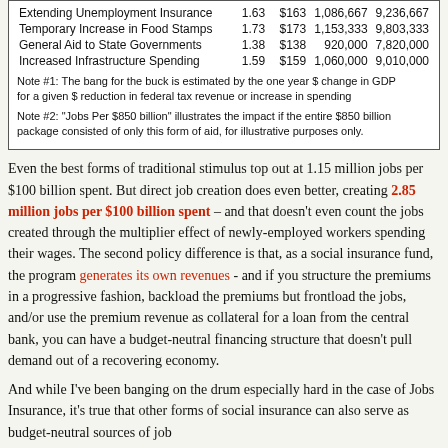|  | Bang for Buck | Jobs per $100B | Jobs per $850B |
| --- | --- | --- | --- |
| Extending Unemployment Insurance | 1.63 | $163 | 1,086,667 | 9,236,667 |
| Temporary Increase in Food Stamps | 1.73 | $173 | 1,153,333 | 9,803,333 |
| General Aid to State Governments | 1.38 | $138 | 920,000 | 7,820,000 |
| Increased Infrastructure Spending | 1.59 | $159 | 1,060,000 | 9,010,000 |
Note #1: The bang for the buck is estimated by the one year $ change in GDP for a given $ reduction in federal tax revenue or increase in spending
Note #2: "Jobs Per $850 billion" illustrates the impact if the entire $850 billion package consisted of only this form of aid, for illustrative purposes only.
Even the best forms of traditional stimulus top out at 1.15 million jobs per $100 billion spent. But direct job creation does even better, creating 2.85 million jobs per $100 billion spent – and that doesn't even count the jobs created through the multiplier effect of newly-employed workers spending their wages. The second policy difference is that, as a social insurance fund, the program generates its own revenues - and if you structure the premiums in a progressive fashion, backload the premiums but frontload the jobs, and/or use the premium revenue as collateral for a loan from the central bank, you can have a budget-neutral financing structure that doesn't pull demand out of a recovering economy.
And while I've been banging on the drum especially hard in the case of Jobs Insurance, it's true that other forms of social insurance can also serve as budget-neutral sources of job